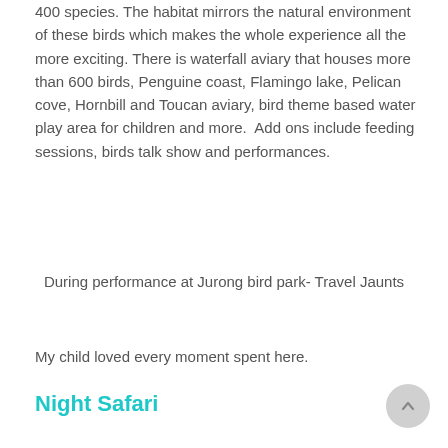400 species. The habitat mirrors the natural environment of these birds which makes the whole experience all the more exciting. There is waterfall aviary that houses more than 600 birds, Penguine coast, Flamingo lake, Pelican cove, Hornbill and Toucan aviary, bird theme based water play area for children and more.  Add ons include feeding sessions, birds talk show and performances.
During performance at Jurong bird park- Travel Jaunts
My child loved every moment spent here.
Night Safari